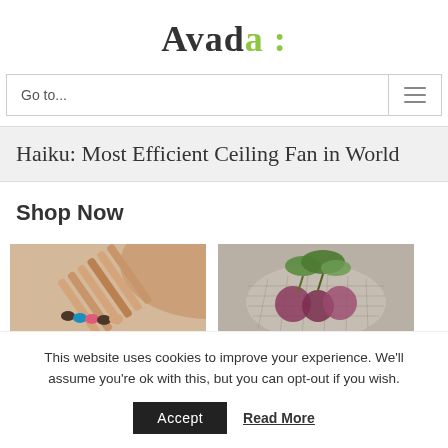Avada :
Go to...
Haiku: Most Efficient Ceiling Fan in World
Shop Now
[Figure (photo): Photo of bamboo toothbrushes with colorful bristles in a bag]
[Figure (photo): Photo of vegetables and groceries in a mesh bag]
This website uses cookies to improve your experience. We'll assume you're ok with this, but you can opt-out if you wish.
Accept   Read More